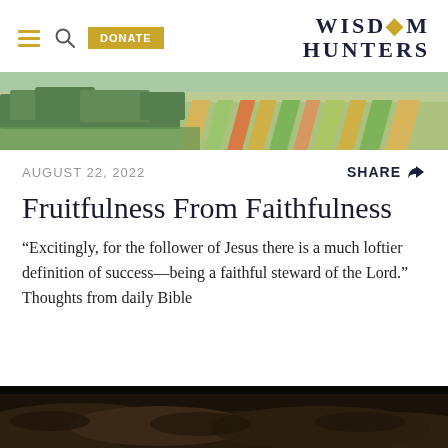DONATE | WISDOM HUNTERS
[Figure (photo): Aerial landscape photo of colorful agricultural fields with trees in background]
AUGUST 22, 2022
SHARE
Fruitfulness From Faithfulness
“Excitingly, for the follower of Jesus there is a much loftier definition of success—being a faithful steward of the Lord.” Thoughts from daily Bible
[Figure (photo): Dark soil mounds at bottom of page]